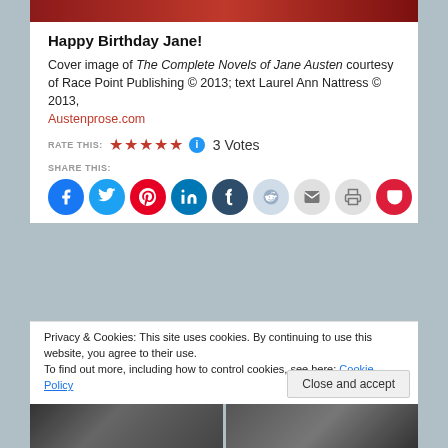[Figure (photo): Partial top image of a red/dark red book cover]
Happy Birthday Jane!
Cover image of The Complete Novels of Jane Austen courtesy of Race Point Publishing © 2013; text Laurel Ann Nattress © 2013, Austenprose.com
RATE THIS: ★★★★★ ℹ 3 Votes
SHARE THIS:
[Figure (infographic): Social share buttons: Facebook, Twitter, Pinterest, LinkedIn, Tumblr, Reddit, Email, Print, Pocket]
Privacy & Cookies: This site uses cookies. By continuing to use this website, you agree to their use.
To find out more, including how to control cookies, see here: Cookie Policy
Close and accept
[Figure (photo): Two partial black and white photos of buildings at the bottom of the page]